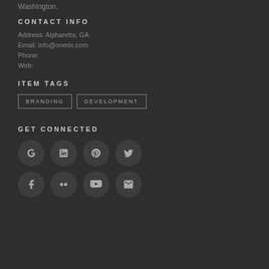Washington.
CONTACT INFO
Address: Alpharetta, GA
Email: info@onedx.com
Phone:
Web:
ITEM TAGS
BRANDING
DEVELOPMENT
GET CONNECTED
[Figure (other): Social media icons row 1: Google+, LinkedIn, Pinterest, Twitter]
[Figure (other): Social media icons row 2: Facebook, Flickr, YouTube, Email]